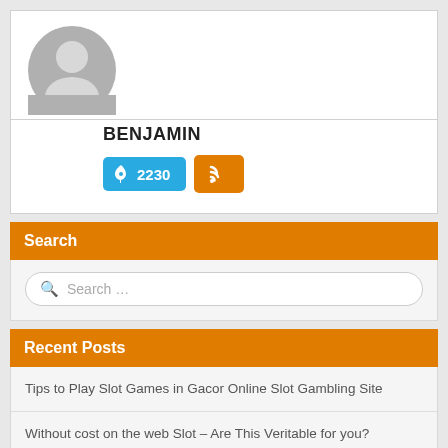[Figure (illustration): Gray circular user avatar/profile placeholder icon]
BENJAMIN
[Figure (infographic): Blue pin badge with count 2230 and orange RSS feed icon badge]
Search
Search …
Recent Posts
Tips to Play Slot Games in Gacor Online Slot Gambling Site
Without cost on the web Slot – Are This Veritable for you?